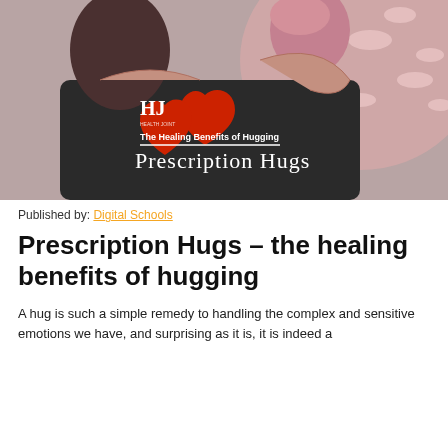[Figure (photo): Two people hugging. One has pink/lavender hair. A large red heart graphic is visible on the dark sweater. Text overlay reads 'HJ', 'The Healing Benefits of Hugging', and 'Prescription Hugs'. Pink polka-dot decorative element in background.]
Published by: Digital Schools
Prescription Hugs – the healing benefits of hugging
A hug is such a simple remedy to handling the complex and sensitive emotions we have, and surprising as it is, it is indeed...